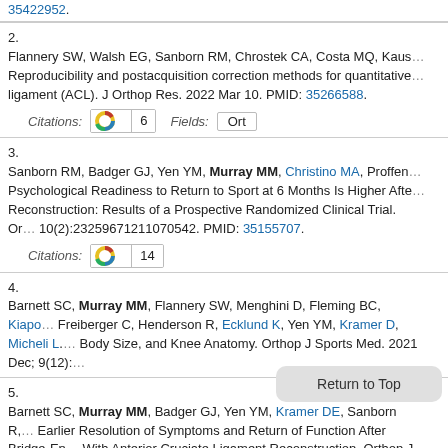35422952.
2. Flannery SW, Walsh EG, Sanborn RM, Chrostek CA, Costa MQ, Kaus... Reproducibility and postacquisition correction methods for quantitative... ligament (ACL). J Orthop Res. 2022 Mar 10. PMID: 35266588.
Citations: [Altmetric] 6   Fields: Ort
3. Sanborn RM, Badger GJ, Yen YM, Murray MM, Christino MA, Proffen... Psychological Readiness to Return to Sport at 6 Months Is Higher Afte... Reconstruction: Results of a Prospective Randomized Clinical Trial. Or... 10(2):23259671211070542. PMID: 35155707.
Citations: [Altmetric] 14
4. Barnett SC, Murray MM, Flannery SW, Menghini D, Fleming BC, Kiap... Freiberger C, Henderson R, Ecklund K, Yen YM, Kramer D, Micheli L. A... Body Size, and Knee Anatomy. Orthop J Sports Med. 2021 Dec; 9(12):...
5. Barnett SC, Murray MM, Badger GJ, Yen YM, Kramer DE, Sanborn R,... Earlier Resolution of Symptoms and Return of Function After Bridge-En... With Anterior Cruciate Ligament Reconstruction. Orthop J Sports Med....
Citations: [PMC] 1  [Altmetric] 4
6. Kiapour AM, Flannery SW, Murray MM, Miller PE, Proffen BL, Sant N,...